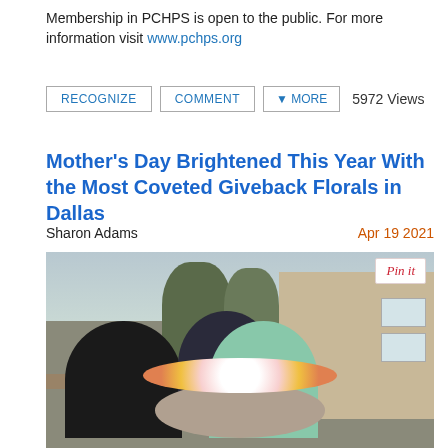Membership in PCHPS is open to the public. For more information visit www.pchps.org
RECOGNIZE   COMMENT   MORE   5972 Views
Mother’s Day Brightened This Year With the Most Coveted Giveback Florals in Dallas
Sharon Adams    Apr 19 2021
[Figure (photo): Three women sitting at an outdoor round table with floral arrangements, with trees and a building in the background. A Pin it button is visible in the top right corner of the photo.]